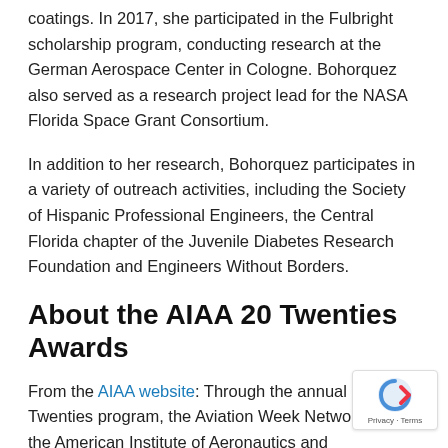coatings. In 2017, she participated in the Fulbright scholarship program, conducting research at the German Aerospace Center in Cologne. Bohorquez also served as a research project lead for the NASA Florida Space Grant Consortium.
In addition to her research, Bohorquez participates in a variety of outreach activities, including the Society of Hispanic Professional Engineers, the Central Florida chapter of the Juvenile Diabetes Research Foundation and Engineers Without Borders.
About the AIAA 20 Twenties Awards
From the AIAA website: Through the annual 20 Twenties program, the Aviation Week Network and the American Institute of Aeronautics and Astronautics recognize young, rising stars within industry. Top students working to solve aerospace